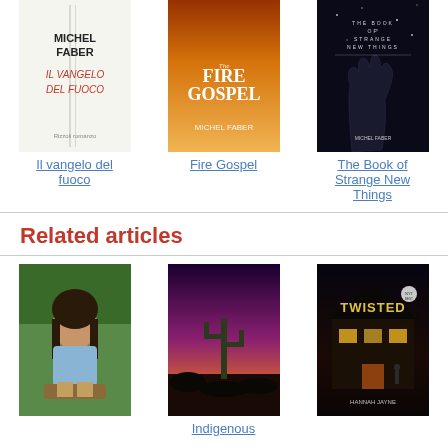[Figure (photo): Book cover: Il vangelo del fuoco by Michel Faber, white cover with red italic title]
Il vangelo del fuoco
[Figure (photo): Book cover: The Fire Gospel by Michel Faber, orange fiery cover]
Fire Gospel
[Figure (photo): Book cover: The Book of Strange New Things by Michel Faber, dark starry cover with hand]
The Book of Strange New Things
Related articles
[Figure (photo): Photo of a woman with dark hair sitting outdoors in green nature]
[Figure (photo): Book cover: Indigenous, desert landscape with cactus at sunset]
Indigenous
[Figure (photo): Book cover: Twisted by Hannah Jayne, dark house with figure, dramatic lighting]